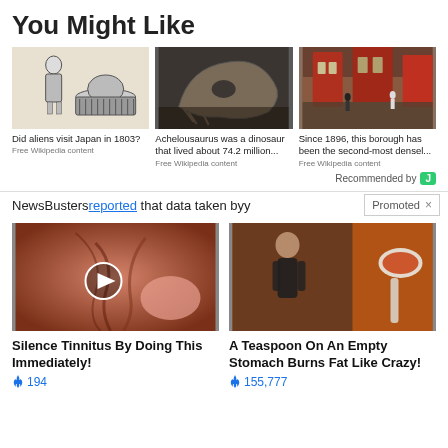You Might Like
[Figure (photo): Illustration of a Japanese woman and a dome-shaped UFO, black and white drawing]
Did aliens visit Japan in 1803?
Free Wikipedia content
[Figure (photo): Photo of a dinosaur skull fossil on display in a museum]
Achelousaurus was a dinosaur that lived about 74.2 million...
Free Wikipedia content
[Figure (photo): Street photo of a borough scene taken since 1896]
Since 1896, this borough has been the second-most densel...
Free Wikipedia content
Recommended by
NewsBusters reported that data taken by
Promoted ×
[Figure (photo): Close-up photo of an ear with a play button overlay]
Silence Tinnitus By Doing This Immediately!
🔥 194
[Figure (photo): Photo of a fit woman and a teaspoon of spice]
A Teaspoon On An Empty Stomach Burns Fat Like Crazy!
🔥 155,777